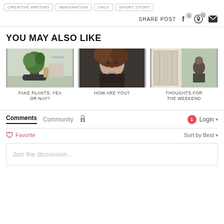CREATIVE WRITING
IMAGINATION
ITALY
SHORT STORY
SHARE POST  f¹  ⊕¹¹  ✉
YOU MAY ALSO LIKE
[Figure (photo): Photo of a potted plant indoors]
FAKE PLANTS: YEA OR NAY?
[Figure (photo): Portrait of a woman wearing a brown hat]
HOW ARE YOU?
[Figure (photo): Person sitting by open glass doors outdoors]
THOUGHTS FOR THE WEEKEND
Comments  Community  🔒  1  Login ▾
♡ Favorite
Sort by Best ▾
Join the discussion...